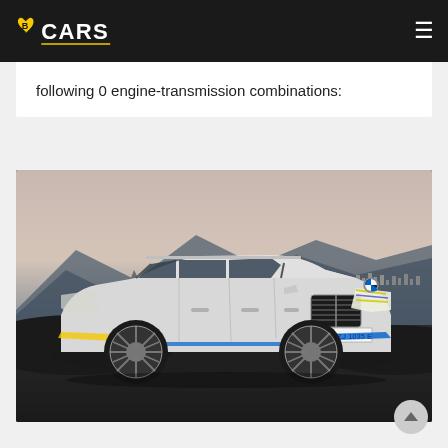BCARS
following 0 engine-transmission combinations:
[Figure (photo): A white BMW iX1 electric SUV parked on an elevated road with mountains and a coastal town visible in the background at dusk. License plate reads M-ZJ 1035 E.]